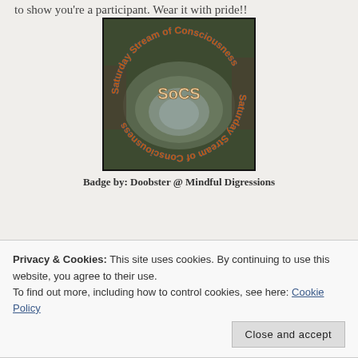to show you're a participant. Wear it with pride!!
[Figure (logo): SoCS badge — circular text reading 'Saturday Stream of Consciousness' around a river/stream photo with 'SoCS' text in center]
Badge by: Doobster @ Mindful Digressions
Privacy & Cookies: This site uses cookies. By continuing to use this website, you agree to their use.
To find out more, including how to control cookies, see here: Cookie Policy
Close and accept